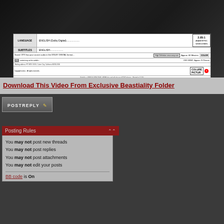[Figure (photo): DVD cover image for adult content video]
Download This Video From Exclusive Beastiality Folder
[Figure (screenshot): Post Reply button]
Posting Rules
You may not post new threads
You may not post replies
You may not post attachments
You may not edit your posts
BB code is On